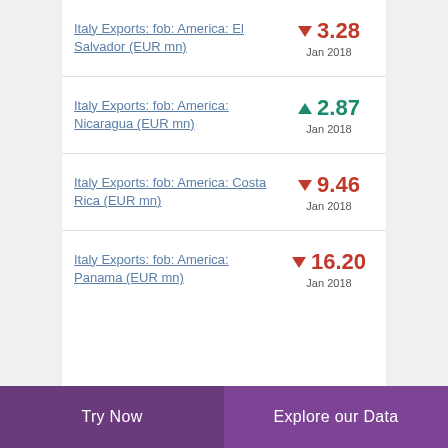Italy Exports: fob: America: El Salvador (EUR mn)
Italy Exports: fob: America: Nicaragua (EUR mn)
Italy Exports: fob: America: Costa Rica (EUR mn)
Italy Exports: fob: America: Panama (EUR mn)
Try Now | Explore our Data